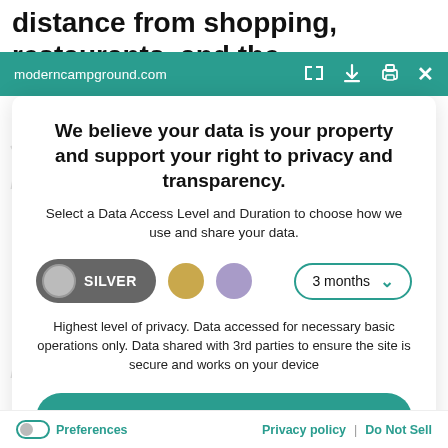distance from shopping, restaurants, and the
moderncampground.com
We believe your data is your property and support your right to privacy and transparency.
Select a Data Access Level and Duration to choose how we use and share your data.
SILVER | 3 months
Highest level of privacy. Data accessed for necessary basic operations only. Data shared with 3rd parties to ensure the site is secure and works on your device
Save my preferences
Preferences | Privacy policy | Do Not Sell